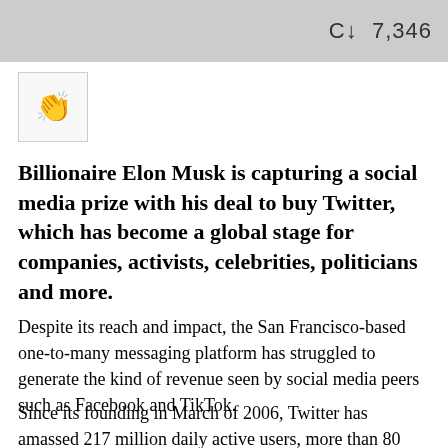[Figure (screenshot): Gray header image with sort/filter icon and count '7,346' on the right side]
[Figure (illustration): Small square avatar icon with clapping hands emoji]
Billionaire Elon Musk is capturing a social media prize with his deal to buy Twitter, which has become a global stage for companies, activists, celebrities, politicians and more.
Despite its reach and impact, the San Francisco-based one-to-many messaging platform has struggled to generate the kind of revenue seen by social media peers such as Facebook and TikTok.
Since its founding in March of 2006, Twitter has amassed 217 million daily active users, more than 80 percent of those outside the United States.